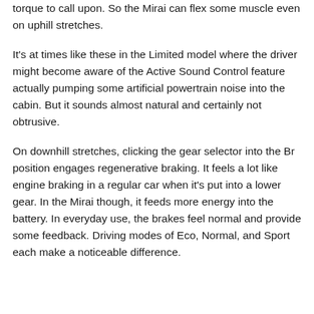torque to call upon. So the Mirai can flex some muscle even on uphill stretches.
It's at times like these in the Limited model where the driver might become aware of the Active Sound Control feature actually pumping some artificial powertrain noise into the cabin. But it sounds almost natural and certainly not obtrusive.
On downhill stretches, clicking the gear selector into the Br position engages regenerative braking. It feels a lot like engine braking in a regular car when it's put into a lower gear. In the Mirai though, it feeds more energy into the battery. In everyday use, the brakes feel normal and provide some feedback. Driving modes of Eco, Normal, and Sport each make a noticeable difference.